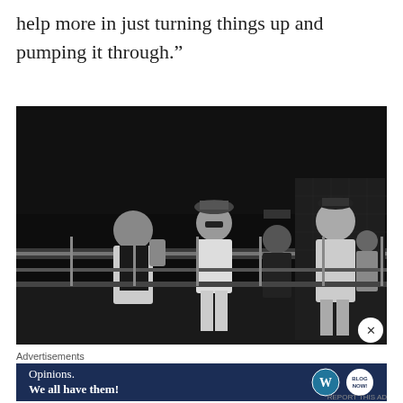help more in just turning things up and pumping it through.”
[Figure (photo): Black and white night photograph of a group of people standing outdoors, likely on a rooftop or parking structure. Several figures in casual streetwear are visible, some wearing hats and jackets, with a dark background and a railing visible.]
Advertisements
[Figure (other): Advertisement banner with dark navy background reading 'Opinions. We all have them!' with WordPress and Blog logos on the right side.]